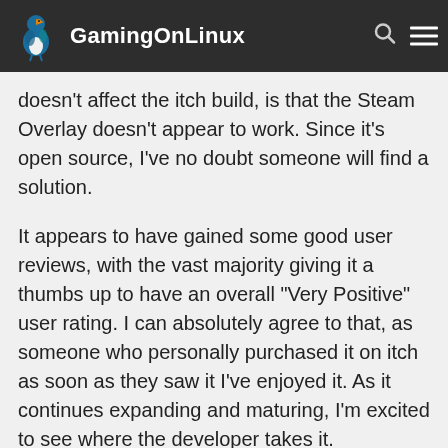GamingOnLinux
doesn't affect the itch build, is that the Steam Overlay doesn't appear to work. Since it's open source, I've no doubt someone will find a solution.
It appears to have gained some good user reviews, with the vast majority giving it a thumbs up to have an overall "Very Positive" user rating. I can absolutely agree to that, as someone who personally purchased it on itch as soon as they saw it I've enjoyed it. As it continues expanding and maturing, I'm excited to see where the developer takes it.
Some of what they have planned for it includes a story mode, more levels and buildings, different maps, map configuration, more shapes, a colour blind mode and so on.
Find it on itch.io as before, newly on Steam and see